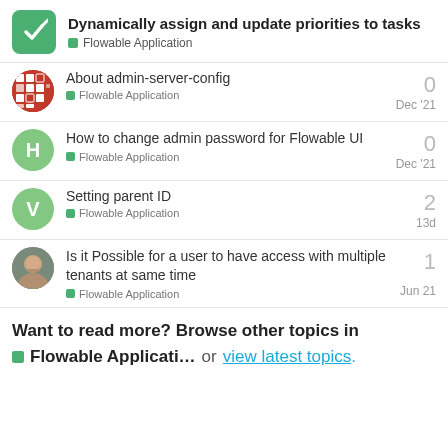Dynamically assign and update priorities to tasks — Flowable Application
About admin-server-config — Flowable Application — Dec '21 — 0 replies
How to change admin password for Flowable UI — Flowable Application — Dec '21 — 0 replies
Setting parent ID — Flowable Application — 13d — 2 replies
Is it Possible for a user to have access with multiple tenants at same time — Flowable Application — Jun 21 — 1 reply
Want to read more? Browse other topics in Flowable Applicati... or view latest topics.